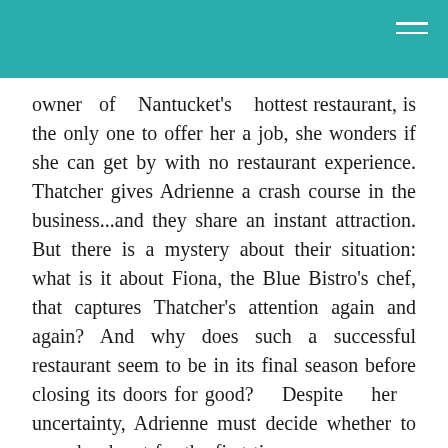owner of Nantucket's hottest restaurant, is the only one to offer her a job, she wonders if she can get by with no restaurant experience. Thatcher gives Adrienne a crash course in the business...and they share an instant attraction. But there is a mystery about their situation: what is it about Fiona, the Blue Bistro's chef, that captures Thatcher's attention again and again? And why does such a successful restaurant seem to be in its final season before closing its doors for good? Despite her uncertainty, Adrienne must decide whether to open her heart for the first time, or move on as she always does. Infused